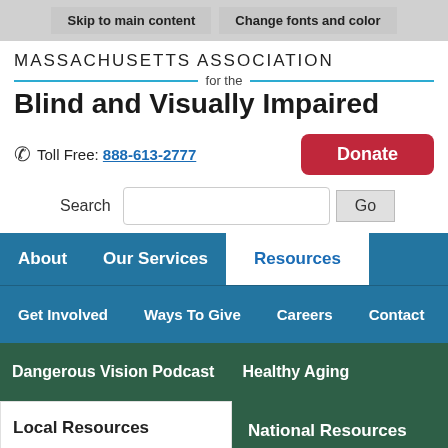Skip to main content | Change fonts and color
[Figure (logo): Massachusetts Association for the Blind and Visually Impaired logo with blue horizontal lines]
Toll Free: 888-613-2777
Donate
Search Go
About
Our Services
Resources
Get Involved
Ways To Give
Careers
Contact
Dangerous Vision Podcast
Healthy Aging
Local Resources
National Resources
Translate »